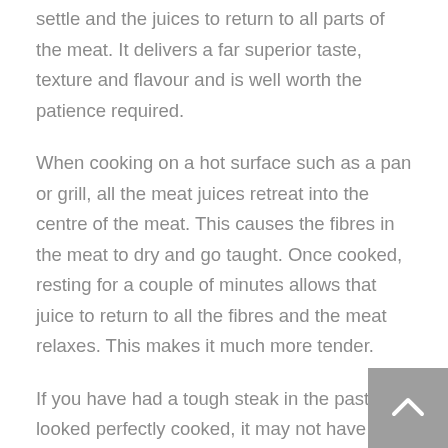settle and the juices to return to all parts of the meat. It delivers a far superior taste, texture and flavour and is well worth the patience required.
When cooking on a hot surface such as a pan or grill, all the meat juices retreat into the centre of the meat. This causes the fibres in the meat to dry and go taught. Once cooked, resting for a couple of minutes allows that juice to return to all the fibres and the meat relaxes. This makes it much more tender.
If you have had a tough steak in the past that looked perfectly cooked, it may not have had enough time to rest.